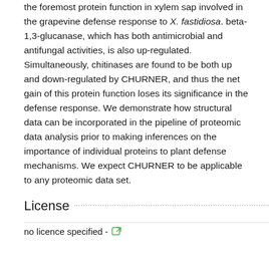the foremost protein function in xylem sap involved in the grapevine defense response to X. fastidiosa. beta-1,3-glucanase, which has both antimicrobial and antifungal activities, is also up-regulated. Simultaneously, chitinases are found to be both up and down-regulated by CHURNER, and thus the net gain of this protein function loses its significance in the defense response. We demonstrate how structural data can be incorporated in the pipeline of proteomic data analysis prior to making inferences on the importance of individual proteins to plant defense mechanisms. We expect CHURNER to be applicable to any proteomic data set.
License
no licence specified -